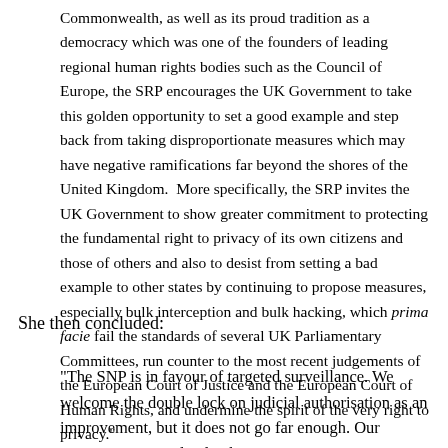Commonwealth, as well as its proud tradition as a democracy which was one of the founders of leading regional human rights bodies such as the Council of Europe, the SRP encourages the UK Government to take this golden opportunity to set a good example and step back from taking disproportionate measures which may have negative ramifications far beyond the shores of the United Kingdom.  More specifically, the SRP invites the UK Government to show greater commitment to protecting the fundamental right to privacy of its own citizens and those of others and also to desist from setting a bad example to other states by continuing to propose measures, especially bulk interception and bulk hacking, which prima facie fail the standards of several UK Parliamentary Committees, run counter to the most recent judgements of the European Court of Justice and the European Court of Human Rights, and undermine the spirit of the very right to privacy."
She then concluded:
"The SNP is in favour of targeted surveillance. We welcome the double lock on judicial authorisation as an improvement, but it does not go far enough. Our concern is, quite clearly, that